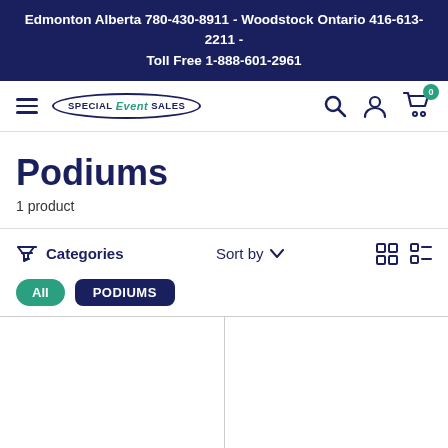Edmonton Alberta 780-430-8911 - Woodstock Ontario 416-613-2211 - Toll Free 1-888-601-2961
[Figure (logo): Special Event Sales logo - oval shaped with hamburger menu and navigation icons]
Podiums
1 product
Categories  Sort by  ▾
All
PODIUMS